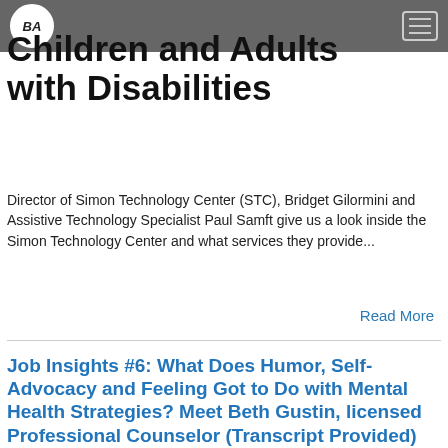BA [logo] [hamburger menu]
Children and Adults with Disabilities
Director of Simon Technology Center (STC), Bridget Gilormini and Assistive Technology Specialist Paul Samft give us a look inside the Simon Technology Center and what services they provide...
Read More
Job Insights #6: What Does Humor, Self-Advocacy and Feeling Got to Do with Mental Health Strategies? Meet Beth Gustin, licensed Professional Counselor (Transcript Provided)